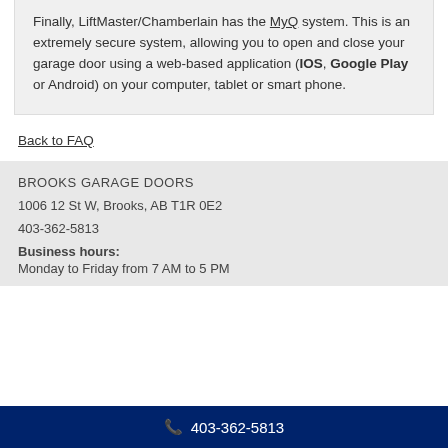Finally, LiftMaster/Chamberlain has the MyQ system. This is an extremely secure system, allowing you to open and close your garage door using a web-based application (IOS, Google Play or Android) on your computer, tablet or smart phone.
Back to FAQ
BROOKS GARAGE DOORS
1006 12 St W, Brooks, AB T1R 0E2
403-362-5813
Business hours: Monday to Friday from 7 AM to 5 PM
403-362-5813